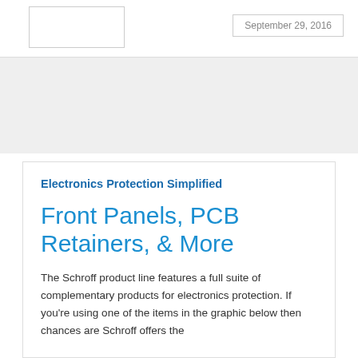September 29, 2016
Electronics Protection Simplified
Front Panels, PCB Retainers, & More
The Schroff product line features a full suite of complementary products for electronics protection. If you're using one of the items in the graphic below then chances are Schroff offers the complementary products. For example, if you're